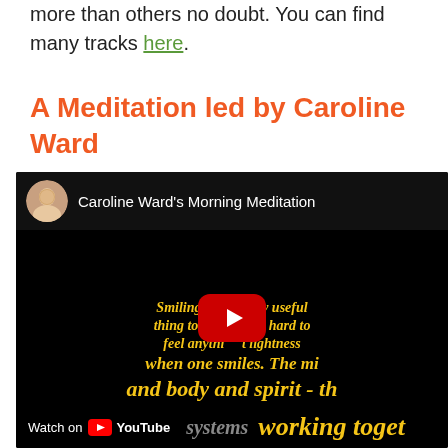more than others no doubt. You can find many tracks here.
A Meditation led by Caroline Ward
[Figure (screenshot): Embedded YouTube video player showing 'Caroline Ward's Morning Meditation'. The video thumbnail shows yellow italic text on a black background: 'Smiling: It [is a v]ery useful thing to do [and v]ery hard to feel anythi[ng but] lightness when one smiles. The mi[nd] and body and spirit - th[ey are] systems working toget[her]'. A red play button is overlaid in the center. The video footer shows 'Watch on YouTube'. An avatar/profile photo is visible in the top-left corner of the player.]